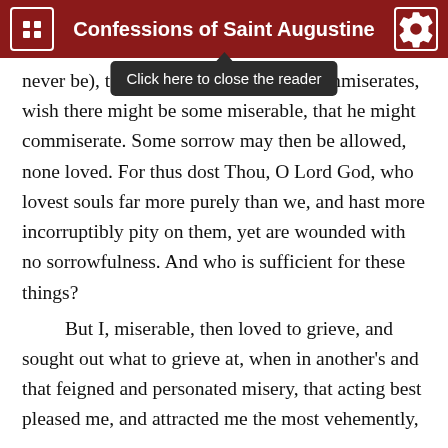Confessions of Saint Augustine
[Figure (screenshot): Tooltip overlay: 'Click here to close the reader' on dark background with upward arrow]
never be), t... sincerely commiserates, wish there might be some miserable, that he might commiserate. Some sorrow may then be allowed, none loved. For thus dost Thou, O Lord God, who lovest souls far more purely than we, and hast more incorruptibly pity on them, yet are wounded with no sorrowfulness. And who is sufficient for these things?
But I, miserable, then loved to grieve, and sought out what to grieve at, when in another's and that feigned and personated misery, that acting best pleased me, and attracted me the most vehemently, which drew tears from me. What marvel that an